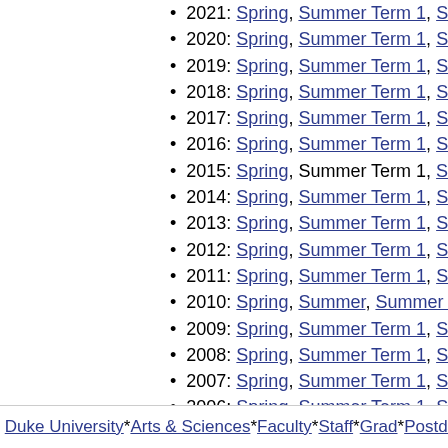2021: Spring, Summer Term 1, Summer Te…
2020: Spring, Summer Term 1, Summer Te…
2019: Spring, Summer Term 1, Summer Te…
2018: Spring, Summer Term 1, Summer Te…
2017: Spring, Summer Term 1, Summer Te…
2016: Spring, Summer Term 1, Summer Te…
2015: Spring, Summer Term 1, Summer Te…
2014: Spring, Summer Term 1, Summer Te…
2013: Spring, Summer Term 1, Summer Te…
2012: Spring, Summer Term 1, Summer Te…
2011: Spring, Summer Term 1, Summer Te…
2010: Spring, Summer, Summer Term 1, S…
2009: Spring, Summer Term 1, Summer Te…
2008: Spring, Summer Term 1, Summer Te…
2007: Spring, Summer Term 1, Summer Te…
2006: Spring, Summer Term 1, Summer Te…
2005: Spring, Summer Term 1, Summer Te…
2004: Spring, Summer Term 1, Summer Te…
2003: Spring, Summer Term 1, Summer Te…
2002: Spring, Summer Term 1, Summer Te…
2001: Spring, Summer Term 1, Summer Te…
2000: Spring, Summer Term 1, Summer Te…
Duke University * Arts & Sciences * Faculty * Staff * Grad * Postdo…